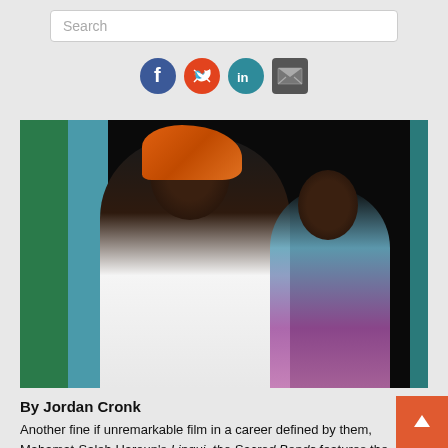[Figure (other): Search bar input field with placeholder text 'Search']
[Figure (infographic): Social media share icons: Facebook (blue circle), Twitter (red/orange circle), LinkedIn (teal circle), Email (dark gray envelope)]
[Figure (photo): Two women in a doorway scene. The woman in the foreground wears a white off-shoulder top and an orange head wrap, looking downward. A second woman in the background wears a colorful blue and red garment.]
By Jordan Cronk
Another fine if unremarkable film in a career defined by them, Mahamat-Saleh Haroun's Lingui, the Sacred Bonds features the hallmarks that have made the Chadian director a mainstay of the major festival circuit.